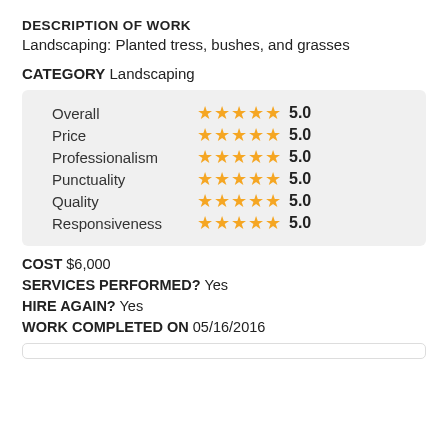DESCRIPTION OF WORK
Landscaping: Planted tress, bushes, and grasses
CATEGORY Landscaping
[Figure (infographic): Ratings box showing Overall, Price, Professionalism, Punctuality, Quality, Responsiveness each rated 5.0 with 5 orange stars]
COST $6,000
SERVICES PERFORMED? Yes
HIRE AGAIN? Yes
WORK COMPLETED ON 05/16/2016